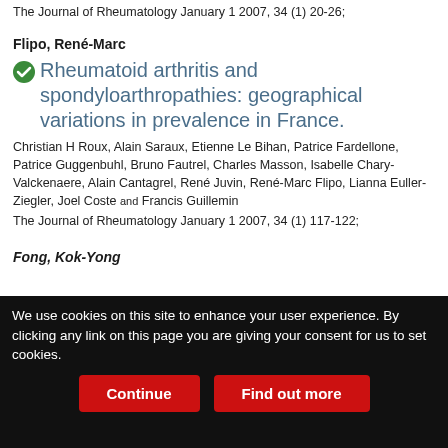The Journal of Rheumatology January 1 2007, 34 (1) 20-26;
Flipo, René-Marc
Rheumatoid arthritis and spondyloarthropathies: geographical variations in prevalence in France.
Christian H Roux, Alain Saraux, Etienne Le Bihan, Patrice Fardellone, Patrice Guggenbuhl, Bruno Fautrel, Charles Masson, Isabelle Chary-Valckenaere, Alain Cantagrel, René Juvin, René-Marc Flipo, Lianna Euller-Ziegler, Joel Coste and Francis Guillemin
The Journal of Rheumatology January 1 2007, 34 (1) 117-122;
Fong, Kok-Yong
We use cookies on this site to enhance your user experience. By clicking any link on this page you are giving your consent for us to set cookies.